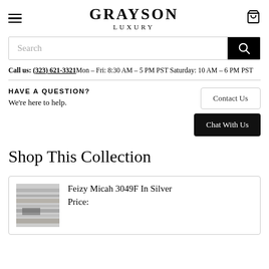GRAYSON LUXURY
[Figure (screenshot): Search bar with black search button icon]
Call us: (323) 621-3321 Mon – Fri: 8:30 AM – 5 PM PST Saturday: 10 AM – 6 PM PST
HAVE A QUESTION?
We're here to help.
Contact Us
Chat With Us
Shop This Collection
Feizy Micah 3049F In Silver
Price: